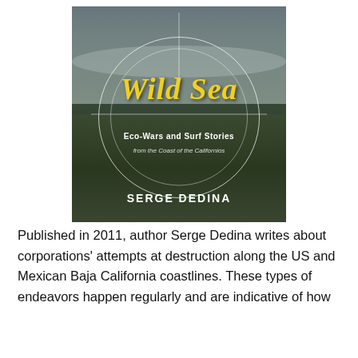[Figure (photo): Book cover of 'Wild Sea: Eco-Wars and Surf Stories from the Coast of the Californios' by Serge Dedina. Features a dark photographic background of ocean waves and coastal grassland, with a circular crosshair design overlaying the image. The title 'Wild Sea' appears in large yellow italic script. Below it reads 'Eco-Wars and Surf Stories from the Coast of the Californios'. Author name 'SERGE DEDINA' appears at the bottom in white bold text.]
Published in 2011, author Serge Dedina writes about corporations' attempts at destruction along the US and Mexican Baja California coastlines. These types of endeavors happen regularly and are indicative of how